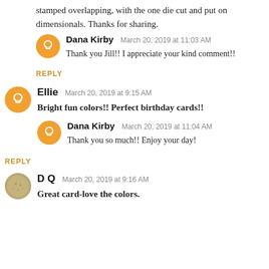stamped overlapping, with the one die cut and put on dimensionals. Thanks for sharing.
Dana Kirby  March 20, 2019 at 11:03 AM
Thank you Jill!! I appreciate your kind comment!!
REPLY
Ellie  March 20, 2019 at 9:15 AM
Bright fun colors!! Perfect birthday cards!!
Dana Kirby  March 20, 2019 at 11:04 AM
Thank you so much!! Enjoy your day!
REPLY
D Q  March 20, 2019 at 9:16 AM
Great card-love the colors.